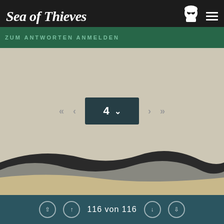[Figure (screenshot): Sea of Thieves website screenshot showing pagination interface. Dark header with 'Sea of Thieves' logo, green bar with 'ZUM ANTWORTEN ANMELDEN' text, beige/tan background main area, pagination controls showing page 4, and teal footer with '116 von 116' navigation.]
Sea of Thieves
ZUM ANTWORTEN ANMELDEN
4
116 von 116